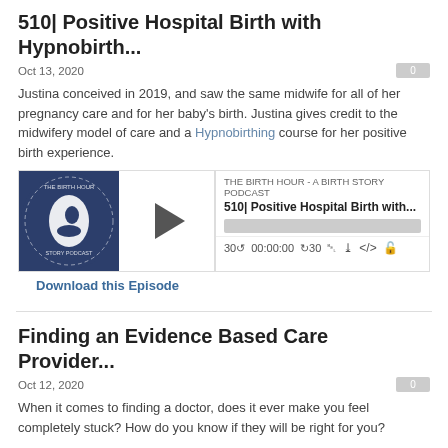510| Positive Hospital Birth with Hypnobirth...
Oct 13, 2020
Justina conceived in 2019, and saw the same midwife for all of her pregnancy care and for her baby's birth. Justina gives credit to the midwifery model of care and a Hypnobirthing course for her positive birth experience.
[Figure (screenshot): Podcast player widget for The Birth Hour - A Birth Story Podcast, episode 510 Positive Hospital Birth with..., showing play button, progress bar, time 00:00:00, and media controls]
Download this Episode
Finding an Evidence Based Care Provider...
Oct 12, 2020
When it comes to finding a doctor, does it ever make you feel completely stuck? How do you know if they will be right for you?
Today Stephanie and I are talking about why we recommend finding an evidence based care provider and how you can tell if the person you're